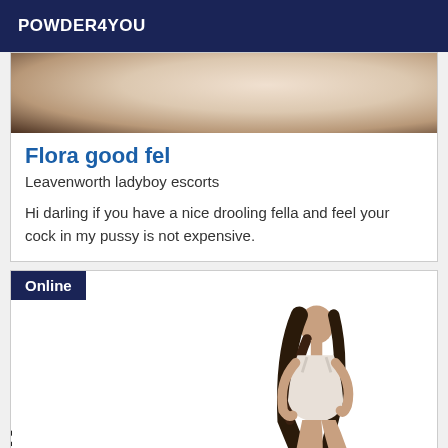POWDER4YOU
[Figure (photo): Partial view of a person lying on a sofa, cropped close-up showing skin tones and dark fabric]
Flora good fel
Leavenworth ladyboy escorts
Hi darling if you have a nice drooling fella and feel your cock in my pussy is not expensive.
[Figure (photo): Online badge with a photo of a woman with long dark hair in white lingerie sitting posed, with a partial watermark text on the left side]